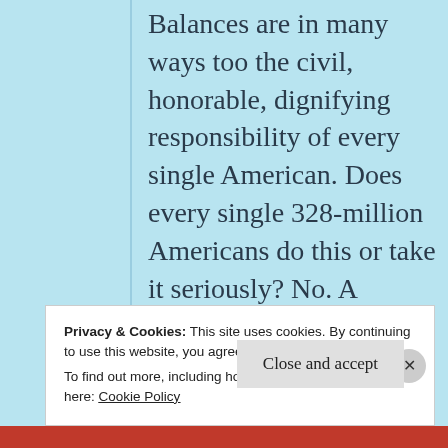Balances are in many ways too the civil, honorable, dignifying responsibility of every single American. Does every single 328-million Americans do this or take it seriously? No. A portion don't bother
Privacy & Cookies: This site uses cookies. By continuing to use this website, you agree to their use.
To find out more, including how to control cookies, see here: Cookie Policy
Close and accept